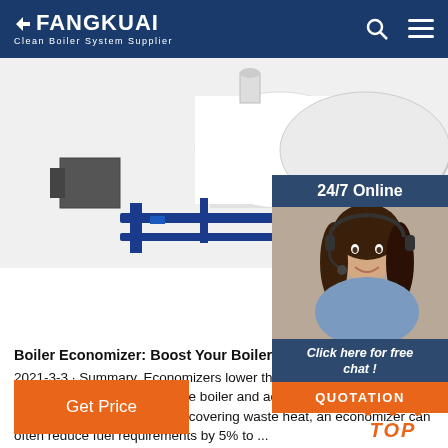FANGKUAI Clean Boiler System Supplier
[Figure (photo): Industrial boiler unit in white and blue colors mounted on a blue frame/base structure, photographed from the side]
[Figure (photo): Customer service agent (woman with headset) with 24/7 Online panel, Click here for free chat, and QUOTATION button overlay]
Boiler Economizer: Boost Your Boiler's Performa... 2021-3-3 · Summary. Economizers lower the co... for a given steam demand. They also reduce the boiler and add heat transfer surface area to the boiler system... recovering waste heat, an economizer can often reduce fuel requirements by 5% to ...
Get Price